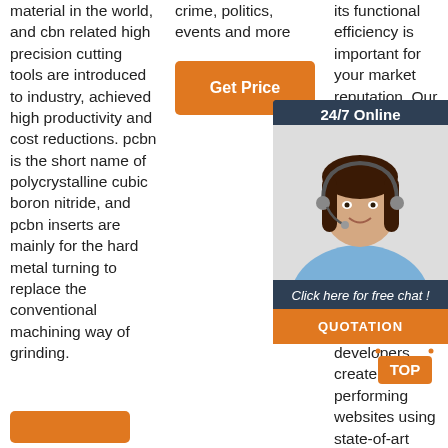material in the world, and cbn related high precision cutting tools are introduced to industry, achieved high productivity and cost reductions. pcbn is the short name of polycrystalline cubic boron nitride, and pcbn inserts are mainly for the hard metal turning to replace the conventional machining way of grinding.
crime, politics, events and more
[Figure (other): Orange 'Get Price' button]
its functional efficiency is important for your market reputation. Our web development services is ready to develop a website that comply with current standard, providing seamless experience for end-users, web developers create high-performing websites using state-of-art website
[Figure (infographic): 24/7 Online chat widget with agent photo, 'Click here for free chat!' text, and QUOTATION orange button]
[Figure (other): Orange TOP scroll-to-top button with dots icon]
[Figure (other): Orange button at bottom of column 1]